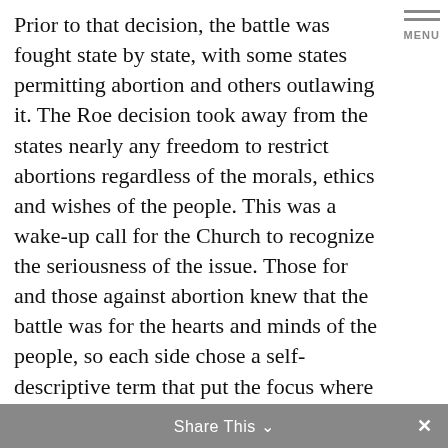Prior to that decision, the battle was fought state by state, with some states permitting abortion and others outlawing it. The Roe decision took away from the states nearly any freedom to restrict abortions regardless of the morals, ethics and wishes of the people. This was a wake-up call for the Church to recognize the seriousness of the issue. Those for and those against abortion knew that the battle was for the hearts and minds of the people, so each side chose a self-descriptive term that put the focus where they wanted it. Those for abortion chose pro-choice to make it seem like the battle was over a woman's right to choose for herself what happens in her body. Those against abortion chose the term pro-life to show that it is a battle over a baby's right to live.
Share This ∨  ✕